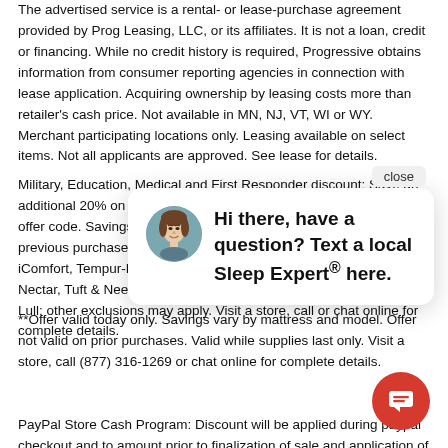The advertised service is a rental- or lease-purchase agreement provided by Prog Leasing, LLC, or its affiliates. It is not a loan, credit or financing. While no credit history is required, Progressive obtains information from consumer reporting agencies in connection with lease application. Acquiring ownership by leasing costs more than retailer's cash price. Not available in MN, NJ, VT, WI or WY. Merchant participating locations only. Leasing available on select items. Not all applicants are approved. See lease for details.
Military, Education, Medical and First Responder discount: Save an additional 20% on select purchases or additional 10% on Purple with offer code. Savings applied to listed sale prices. Offer not valid on previous purchases, floor models, clearance items, final markdowns, iComfort, Tempur-Pedic, Purple, Stearns & Foster, Beautyrest Black, Nectar, Tuft & Needle, Cocoon, Saatva, Leesa, Bear, Casper and Lull; other exclusions may apply. Visit a store, call or chat online for complete details.
**Offer valid today only. Savings vary by mattress and model. Offer not valid on prior purchases. Valid while supplies last only. Visit a store, call (877) 316-1269 or chat online for complete details.
PayPal Store Cash Program: Discount will be applied during paypal checkout and to amount prior to finalization of sale and application of
[Figure (other): Chat popup overlay with avatar photo of a woman with brown hair, speech bubble saying 'Hi there, have a question? Text a local Sleep Expert® here.' and a close button. A red circular chat button with a message icon is in the bottom right corner.]